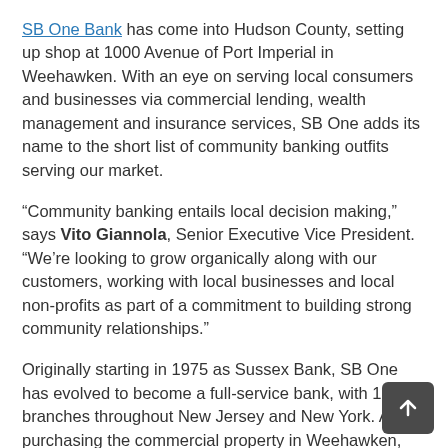SB One Bank has come into Hudson County, setting up shop at 1000 Avenue of Port Imperial in Weehawken. With an eye on serving local consumers and businesses via commercial lending, wealth management and insurance services, SB One adds its name to the short list of community banking outfits serving our market.
“Community banking entails local decision making,” says Vito Giannola, Senior Executive Vice President. “We’re looking to grow organically along with our customers, working with local businesses and local non-profits as part of a commitment to building strong community relationships.”
Originally starting in 1975 as Sussex Bank, SB One has evolved to become a full-service bank, with 18 branches throughout New Jersey and New York. After purchasing the commercial property in Weehawken, SB One is excited about the prospect of meeting the dynamic needs of its Hudson County customers.